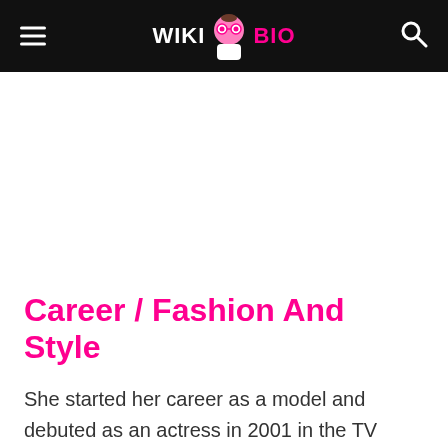WIKI BIO
Career / Fashion And Style
She started her career as a model and debuted as an actress in 2001 in the TV horror show Ssshhhh…Koi Hai. Thereafter, she featured in many shows such as Astitva…Ek Prem